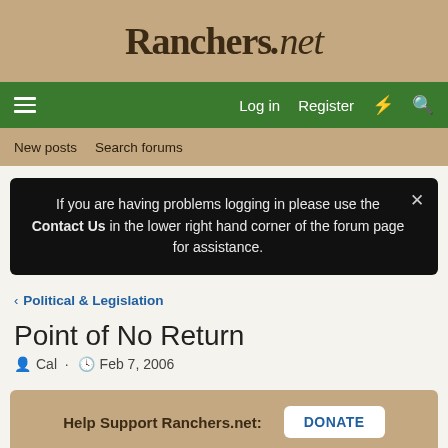Ranchers.net
Log in  Register
New posts  Search forums
If you are having problems logging in please use the Contact Us in the lower right hand corner of the forum page for assistance.
Political & Legislation
Point of No Return
Cal · Feb 7, 2006
Help Support Ranchers.net: DONATE